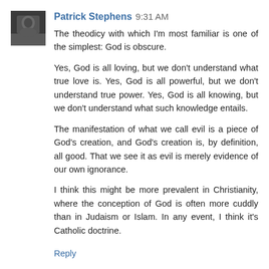Patrick Stephens 9:31 AM
The theodicy with which I'm most familiar is one of the simplest: God is obscure.

Yes, God is all loving, but we don't understand what true love is. Yes, God is all powerful, but we don't understand true power. Yes, God is all knowing, but we don't understand what such knowledge entails.

The manifestation of what we call evil is a piece of God's creation, and God's creation is, by definition, all good. That we see it as evil is merely evidence of our own ignorance.

I think this might be more prevalent in Christianity, where the conception of God is often more cuddly than in Judaism or Islam. In any event, I think it's Catholic doctrine.
Reply
Philip 3:26 PM